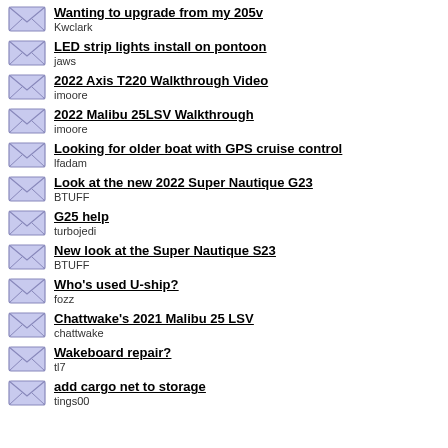Wanting to upgrade from my 205v
Kwclark
LED strip lights install on pontoon
jaws
2022 Axis T220 Walkthrough Video
imoore
2022 Malibu 25LSV Walkthrough
imoore
Looking for older boat with GPS cruise control
lfadam
Look at the new 2022 Super Nautique G23
BTUFF
G25 help
turbojedi
New look at the Super Nautique S23
BTUFF
Who's used U-ship?
fozz
Chattwake's 2021 Malibu 25 LSV
chattwake
Wakeboard repair?
tl7
add cargo net to storage
tings00